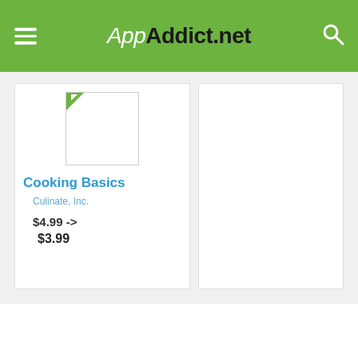AppAddict.net
[Figure (screenshot): App icon placeholder image with a small green corner icon, white background, bordered rectangle]
Cooking Basics
Culinate, Inc.
$4.99 ->
$3.99